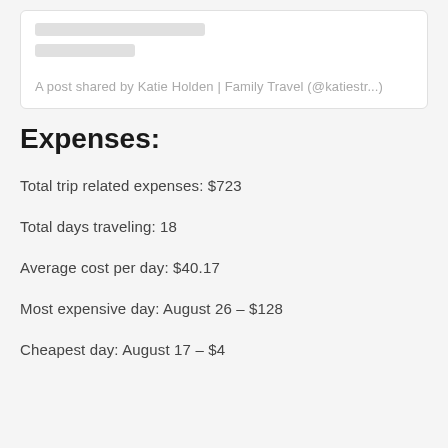[Figure (screenshot): Social media post card with skeleton loading lines and attribution text: A post shared by Katie Holden | Family Travel (@katiestr...]
Expenses:
Total trip related expenses: $723
Total days traveling: 18
Average cost per day: $40.17
Most expensive day: August 26 – $128
Cheapest day: August 17 – $4